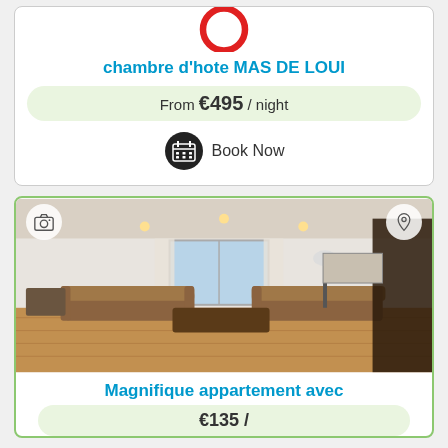[Figure (illustration): Partial red circle/no-entry sign icon (cropped at top)]
chambre d'hote MAS DE LOUI
From €495 / night
Book Now
[Figure (photo): Interior photo of a furnished living room with wooden floor, two leather sofas, coffee table, curtained window, and a staircase on the right side. Camera and location pin icons overlaid at top corners.]
Magnifique appartement avec
€135 /